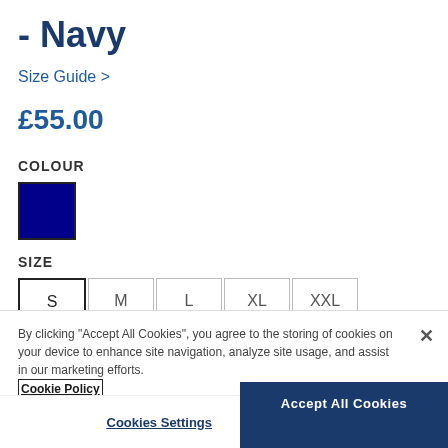- Navy
Size Guide >
£55.00
COLOUR
[Figure (other): Navy blue colour swatch square with dark border]
SIZE
S | M | L | XL | XXL
By clicking "Accept All Cookies", you agree to the storing of cookies on your device to enhance site navigation, analyze site usage, and assist in our marketing efforts. Cookie Policy
Cookies Settings
Accept All Cookies